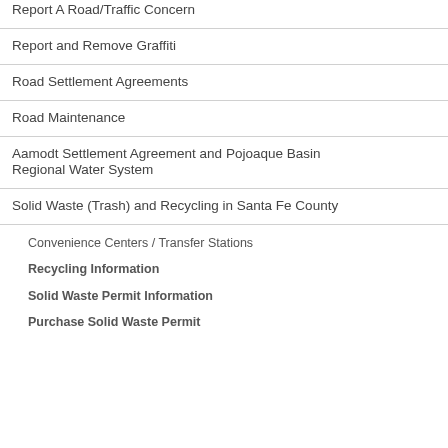Report A Road/Traffic Concern
Report and Remove Graffiti
Road Settlement Agreements
Road Maintenance
Aamodt Settlement Agreement and Pojoaque Basin Regional Water System
Solid Waste (Trash) and Recycling in Santa Fe County
Convenience Centers / Transfer Stations
Recycling Information
Solid Waste Permit Information
Purchase Solid Waste Permit